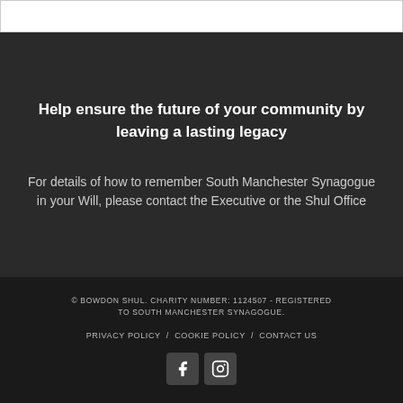Help ensure the future of your community by leaving a lasting legacy
For details of how to remember South Manchester Synagogue in your Will, please contact the Executive or the Shul Office
© BOWDON SHUL. CHARITY NUMBER: 1124507 - REGISTERED TO SOUTH MANCHESTER SYNAGOGUE.
PRIVACY POLICY / COOKIE POLICY / CONTACT US